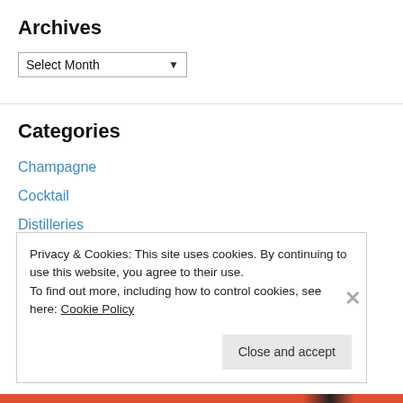Archives
Select Month
Categories
Champagne
Cocktail
Distilleries
Drinks
Food
Infusion
Privacy & Cookies: This site uses cookies. By continuing to use this website, you agree to their use.
To find out more, including how to control cookies, see here: Cookie Policy
Close and accept